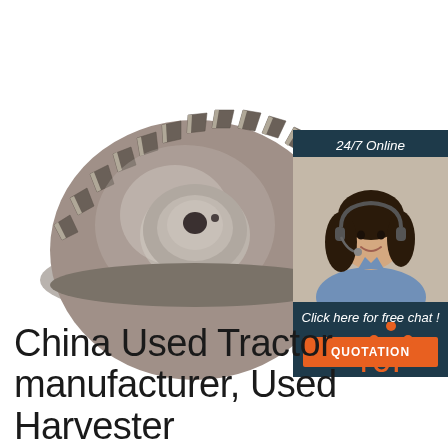[Figure (photo): Large metallic helical gear (spur gear with angled teeth), steel-colored, photographed on white background, shown at a three-quarter angle]
[Figure (infographic): Chat widget with dark navy background showing '24/7 Online' text, a woman with headset smiling, text 'Click here for free chat!' and an orange 'QUOTATION' button]
[Figure (logo): TOP logo: orange triangle/house shape made of dots above the word TOP in orange text]
China Used Tractor manufacturer, Used Harvester